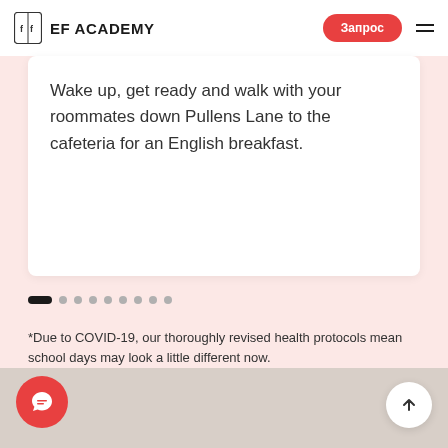EF ACADEMY
Wake up, get ready and walk with your roommates down Pullens Lane to the cafeteria for an English breakfast.
*Due to COVID-19, our thoroughly revised health protocols mean school days may look a little different now.
[Figure (other): Person's face partially visible at bottom of page]